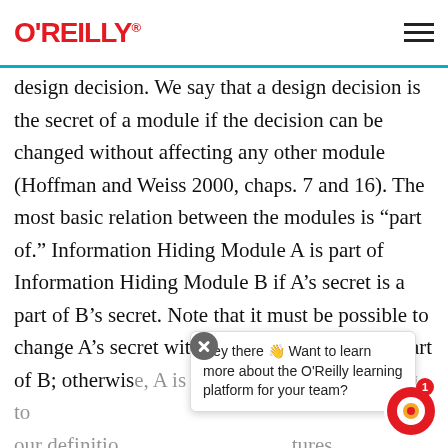O'REILLY
design decision. We say that a design decision is the secret of a module if the decision can be changed without affecting any other module (Hoffman and Weiss 2000, chaps. 7 and 16). The most basic relation between the modules is “part of.” Information Hiding Module A is part of Information Hiding Module B if A’s secret is a part of B’s secret. Note that it must be possible to change A’s secret without changing any other part of B; otherwise, A is not a submodule according to our definition. [text continues] tures have virtual [text continues] 3 to communicate with certain physical devices. It
Hey there 👋 Want to learn more about the O’Reilly learning platform for your team?